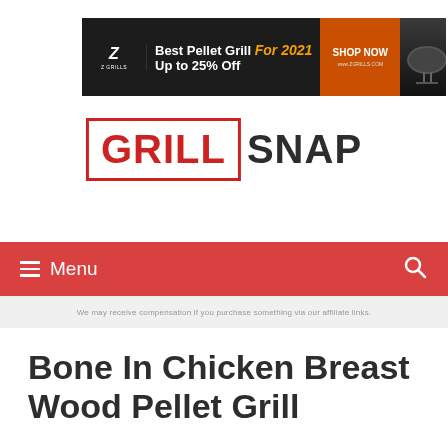[Figure (other): Z Grills advertisement banner: Best Pellet Grill For 2021, Up to 25% Off, SHOP NOW, www.zgrills.com]
[Figure (logo): GRILL SNAP logo — GRILL in red with red border box, SNAP in dark gray]
Menu
We may receive compensation if you purchase something via our affiliate links.
Bone In Chicken Breast Wood Pellet Grill